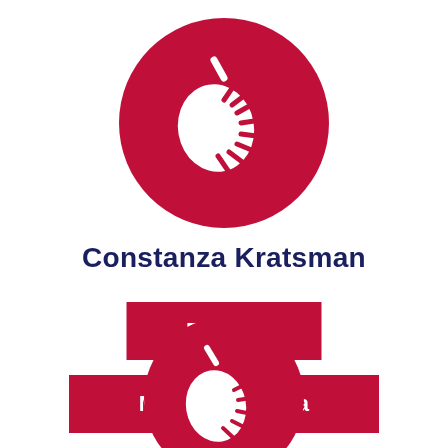[Figure (logo): Red circle with white stylized apple/leaf icon - organization logo for Constanza Kratsman]
Constanza Kratsman
Donate
Meet Constanza
[Figure (logo): Red circle with white stylized apple/leaf icon - partially visible at bottom of page]